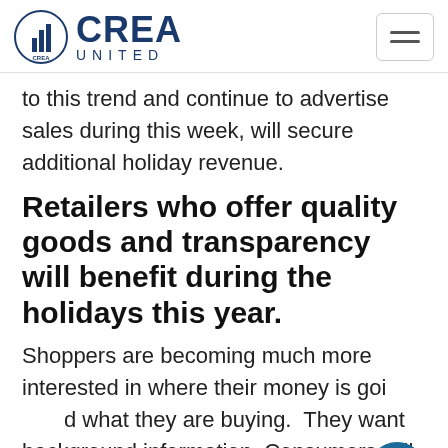CREA UNITED
to this trend and continue to advertise sales during this week, will secure additional holiday revenue.
Retailers who offer quality goods and transparency will benefit during the holidays this year.
Shoppers are becoming much more interested in where their money is going and what they are buying.  They want background information. Consumers will be asking the